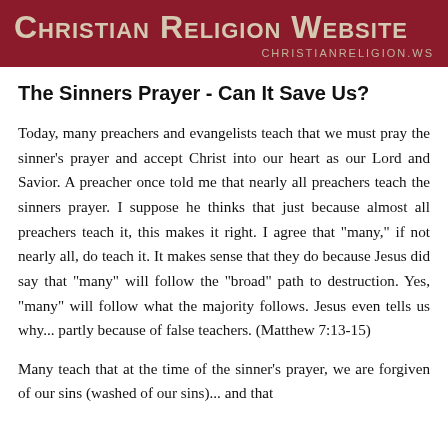Christian Religion Website
CHRISTIANRELIGION.WS
The Sinners Prayer - Can It Save Us?
Today, many preachers and evangelists teach that we must pray the sinner's prayer and accept Christ into our heart as our Lord and Savior. A preacher once told me that nearly all preachers teach the sinners prayer. I suppose he thinks that just because almost all preachers teach it, this makes it right. I agree that "many," if not nearly all, do teach it. It makes sense that they do because Jesus did say that "many" will follow the "broad" path to destruction. Yes, "many" will follow what the majority follows. Jesus even tells us why... partly because of false teachers. (Matthew 7:13-15)
Many teach that at the time of the sinner's prayer, we are forgiven of our sins (washed of our sins)... and that